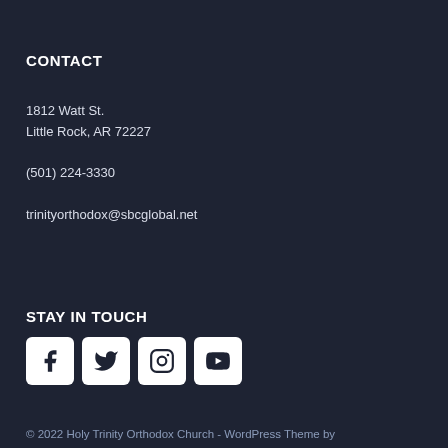CONTACT
1812 Watt St.
Little Rock, AR 72227
(501) 224-3330
trinityorthodox@sbcglobal.net
STAY IN TOUCH
[Figure (other): Social media icons: Facebook, Twitter, Instagram, YouTube]
© 2022 Holy Trinity Orthodox Church - WordPress Theme by